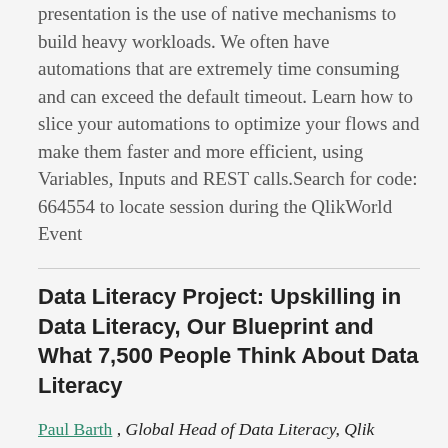presentation is the use of native mechanisms to build heavy workloads. We often have automations that are extremely time consuming and can exceed the default timeout. Learn how to slice your automations to optimize your flows and make them faster and more efficient, using Variables, Inputs and REST calls.Search for code: 664554 to locate session during the QlikWorld Event
Data Literacy Project: Upskilling in Data Literacy, Our Blueprint and What 7,500 People Think About Data Literacy
Paul Barth , Global Head of Data Literacy, Qlik
David Miller , European Lead, Augmented Insights, Accenture